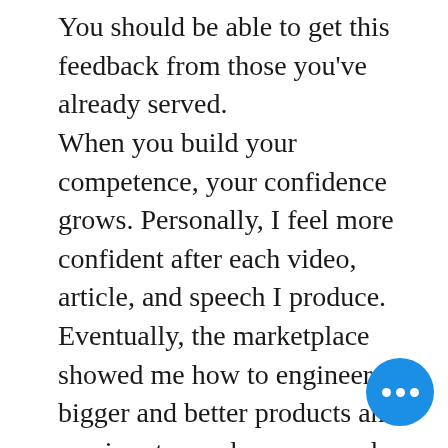You should be able to get this feedback from those you've already served. When you build your competence, your confidence grows. Personally, I feel more confident after each video, article, and speech I produce. Eventually, the marketplace showed me how to engineer bigger and better products and services to reach more people. When you serve hundreds of people, thousands will show up. If you take care of thousands, millions will come. Try it! Success begets success. If you start where you are and absorb the opportunities around you, you'll able to drink the joys of life. You to take what you get in life to get